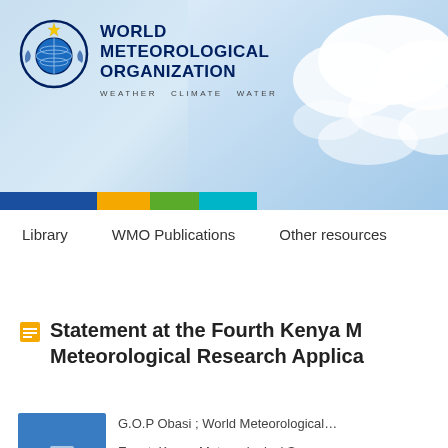[Figure (logo): World Meteorological Organization logo with emblem, name, tagline 'WEATHER CLIMATE WATER', and colored bar]
Library   WMO Publications   Other resources
Statement at the Fourth Kenya Meteorological Research Applications…
G.O.P Obasi ; World Meteorological…
Event: Kenya Meteorological So…
[Figure (illustration): Blue book cover thumbnail with stacked books icon]